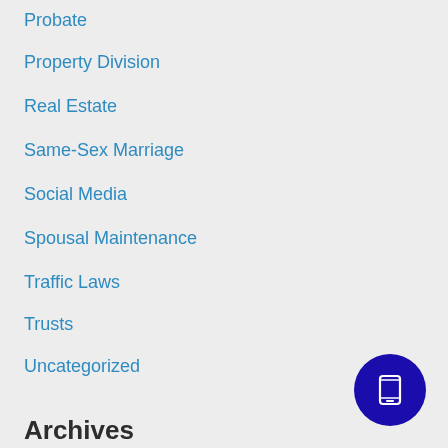Probate
Property Division
Real Estate
Same-Sex Marriage
Social Media
Spousal Maintenance
Traffic Laws
Trusts
Uncategorized
Archives
August 2022
July 2022
May 2022
[Figure (illustration): Dark blue circular button with a mobile phone icon in white]